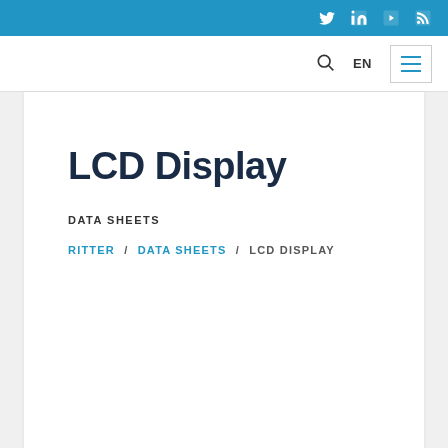Social media icons: Twitter, LinkedIn, YouTube, RSS
Search | EN | Menu
LCD Display
DATA SHEETS
RITTER / DATA SHEETS / LCD DISPLAY